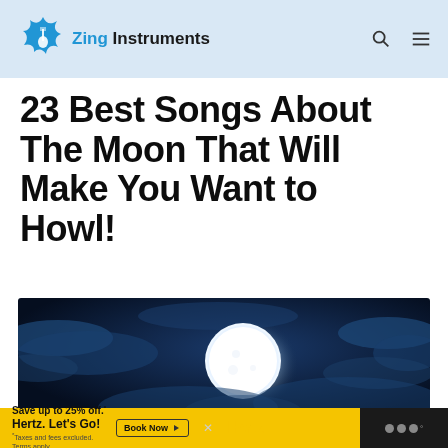Zing Instruments
23 Best Songs About The Moon That Will Make You Want to Howl!
[Figure (photo): Dramatic nighttime sky photo featuring a large glowing full moon surrounded by blue-tinted clouds against a dark blue sky]
[Figure (other): Hertz advertisement banner: 'Save up to 25% off. Hertz. Let's Go!' with 'Book Now' button]